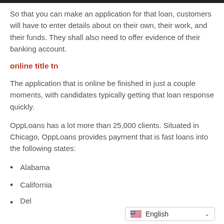So that you can make an application for that loan, customers will have to enter details about on their own, their work, and their funds. They shall also need to offer evidence of their banking account.
online title tn
The application that is online be finished in just a couple moments, with candidates typically getting that loan response quickly.
OppLoans has a lot more than 25,000 clients. Situated in Chicago, OppLoans provides payment that is fast loans into the following states:
Alabama
California
Del...